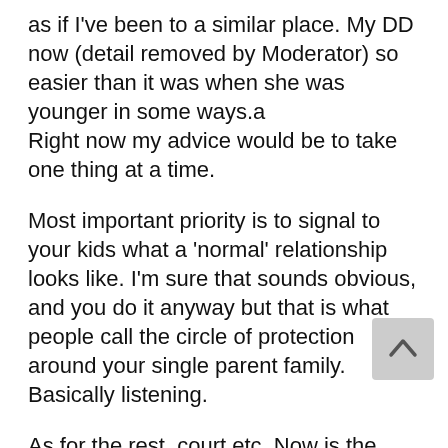as if I've been to a similar place. My DD now (detail removed by Moderator) so easier than it was when she was younger in some ways.a
Right now my advice would be to take one thing at a time.
Most important priority is to signal to your kids what a 'normal' relationship looks like. I'm sure that sounds obvious, and you do it anyway but that is what people call the circle of protection around your single parent family. Basically listening.
As for the rest, court etc. Now is the time to put the work in to feel more confident knowing how it might work, IF you need or choose to cross that bridge. You are in teh right place for pointers here, try not to be afraid of it. He can try all he wants to intimidate you, but doesn't mean he will get what he wwants in court.
Begin to put boundaries around your single parent family.
Do not be...